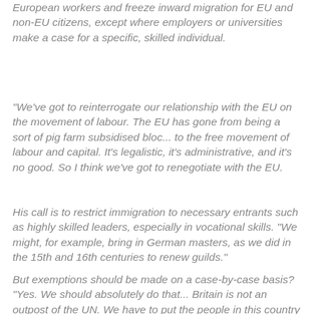European workers and freeze inward migration for EU and non-EU citizens, except where employers or universities make a case for a specific, skilled individual.
"We've got to reinterrogate our relationship with the EU on the movement of labour. The EU has gone from being a sort of pig farm subsidised bloc... to the free movement of labour and capital. It's legalistic, it's administrative, and it's no good. So I think we've got to renegotiate with the EU.
His call is to restrict immigration to necessary entrants such as highly skilled leaders, especially in vocational skills. "We might, for example, bring in German masters, as we did in the 15th and 16th centuries to renew guilds."
But exemptions should be made on a case-by-case basis? "Yes. We should absolutely do that... Britain is not an outpost of the UN. We have to put the people in this country first." Even if that